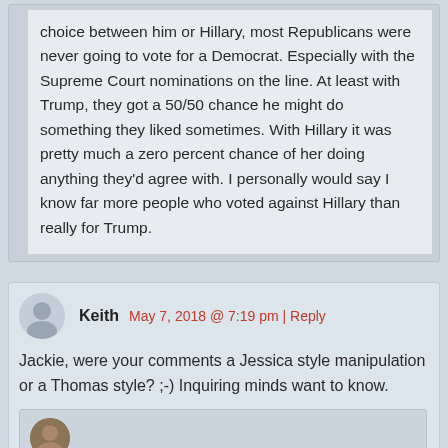choice between him or Hillary, most Republicans were never going to vote for a Democrat. Especially with the Supreme Court nominations on the line. At least with Trump, they got a 50/50 chance he might do something they liked sometimes. With Hillary it was pretty much a zero percent chance of her doing anything they'd agree with. I personally would say I know far more people who voted against Hillary than really for Trump.
Keith  May 7, 2018 @ 7:19 pm | Reply
Jackie, were your comments a Jessica style manipulation or a Thomas style? ;-) Inquiring minds want to know.